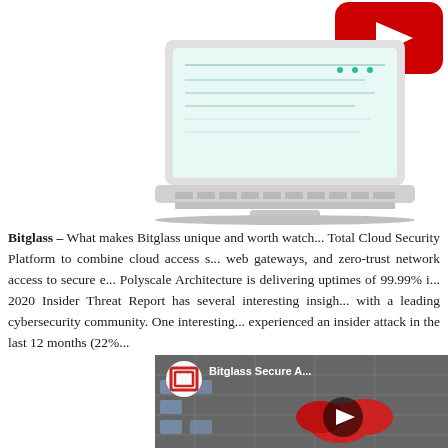[Figure (illustration): Illustration of a laptop with a YouTube play button icon in the top-right corner, teal/green screen and keyboard visible, partially cropped at the right edge]
Bitglass – What makes Bitglass unique and worth watching? Total Cloud Security Platform to combine cloud access s... web gateways, and zero-trust network access to secure e... Polyscale Architecture is delivering uptimes of 99.99% i... 2020 Insider Threat Report has several interesting insigh... with a leading cybersecurity community. One interesting... experienced an insider attack in the last 12 months (22%...
[Figure (screenshot): Video thumbnail for 'Bitglass Secure A...' showing cloud security imagery with red clouds and network diagrams, with a circular Bitglass logo icon and a play button overlay]